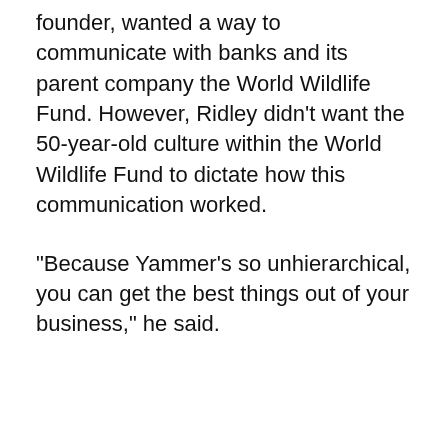founder, wanted a way to communicate with banks and its parent company the World Wildlife Fund. However, Ridley didn't want the 50-year-old culture within the World Wildlife Fund to dictate how this communication worked.
"Because Yammer's so unhierarchical, you can get the best things out of your business," he said.